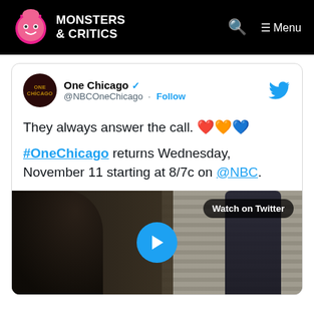MONSTERS & CRITICS — Menu
[Figure (screenshot): Tweet from @NBCOneChicago (One Chicago) with verified badge. Text: 'They always answer the call. ❤️🧡💙 #OneChicago returns Wednesday, November 11 starting at 8/7c on @NBC.' with a video thumbnail below showing two people, a 'Watch on Twitter' badge, and a blue play button.]